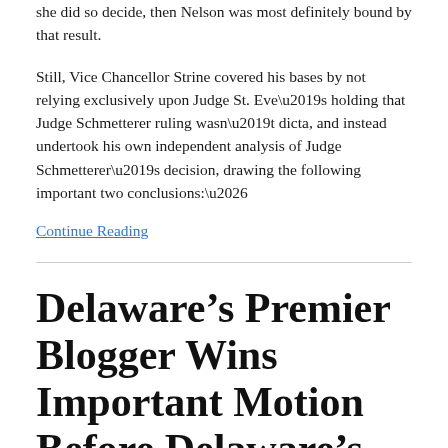she did so decide, then Nelson was most definitely bound by that result.
Still, Vice Chancellor Strine covered his bases by not relying exclusively upon Judge St. Eve’s holding that Judge Schmetterer ruling wasn’t dicta, and instead undertook his own independent analysis of Judge Schmetterer’s decision, drawing the following important two conclusions:…
Continue Reading
Delaware’s Premier Blogger Wins Important Motion Before Delaware’s Judge Walsh Imposing the